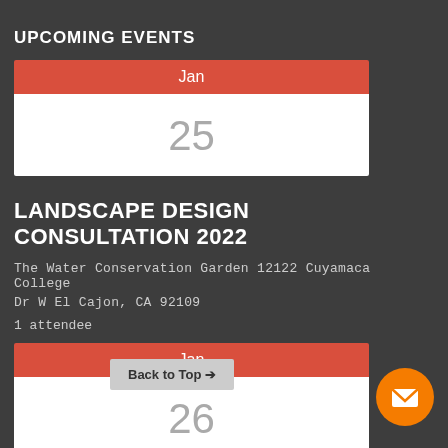UPCOMING EVENTS
[Figure (other): Calendar widget showing Jan 25]
LANDSCAPE DESIGN CONSULTATION 2022
The Water Conservation Garden 12122 Cuyamaca College Dr W El Cajon, CA 92109
1 attendee
[Figure (other): Calendar widget showing Jan 26]
LANDSCAPE DESIGN
Back to Top